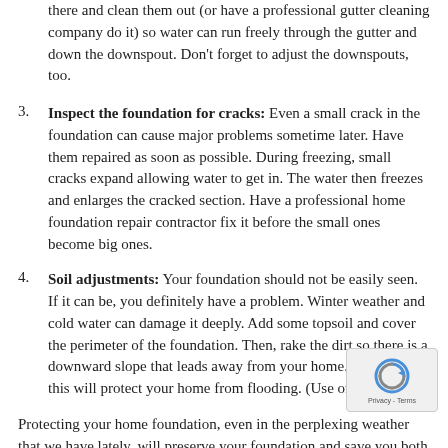there and clean them out (or have a professional gutter cleaning company do it) so water can run freely through the gutter and down the downspout. Don't forget to adjust the downspouts, too.
3. Inspect the foundation for cracks: Even a small crack in the foundation can cause major problems sometime later. Have them repaired as soon as possible. During freezing, small cracks expand allowing water to get in. The water then freezes and enlarges the cracked section. Have a professional home foundation repair contractor fix it before the small ones become big ones.
4. Soil adjustments: Your foundation should not be easily seen. If it can be, you definitely have a problem. Winter weather and cold water can damage it deeply. Add some topsoil and cover the perimeter of the foundation. Then, rake the dirt so there is a downward slope that leads away from your home. Soil set like this will protect your home from flooding. (Use only dirt.)
Protecting your home foundation, even in the perplexing weather that we have lately, will preserve your foundation and save you both money and stress. If you are unsure of what to